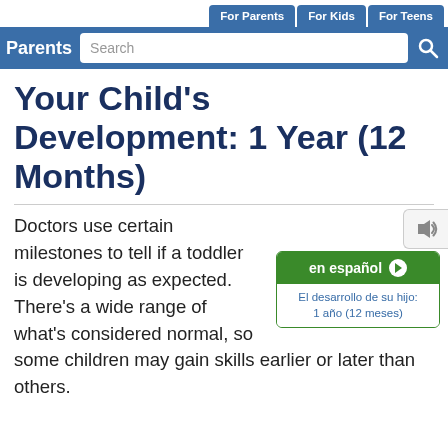For Parents | For Kids | For Teens
Parents  Search
Your Child's Development: 1 Year (12 Months)
Doctors use certain milestones to tell if a toddler is developing as expected. There's a wide range of what's considered normal, so some children may gain skills earlier or later than others.
en español ▶ El desarrollo de su hijo: 1 año (12 meses)